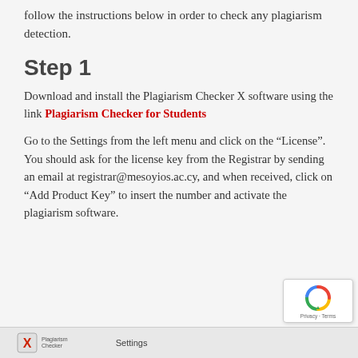follow the instructions below in order to check any plagiarism detection.
Step 1
Download and install the Plagiarism Checker X software using the link Plagiarism Checker for Students
Go to the Settings from the left menu and click on the “License”. You should ask for the license key from the Registrar by sending an email at registrar@mesoyios.ac.cy, and when received, click on “Add Product Key” to insert the number and activate the plagiarism software.
[Figure (screenshot): Partial screenshot of Plagiarism Checker X software showing logo and Settings label at bottom of page]